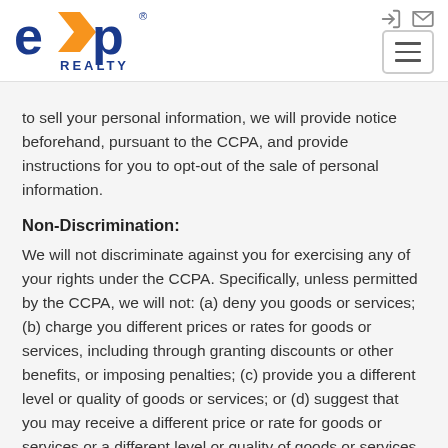[Figure (logo): eXp Realty logo — blue 'exp' text with orange arrow accent, 'REALTY' beneath]
to sell your personal information, we will provide notice beforehand, pursuant to the CCPA, and provide instructions for you to opt-out of the sale of personal information.
Non-Discrimination:
We will not discriminate against you for exercising any of your rights under the CCPA. Specifically, unless permitted by the CCPA, we will not: (a) deny you goods or services; (b) charge you different prices or rates for goods or services, including through granting discounts or other benefits, or imposing penalties; (c) provide you a different level or quality of goods or services; or (d) suggest that you may receive a different price or rate for goods or services or a different level or quality of goods or services.